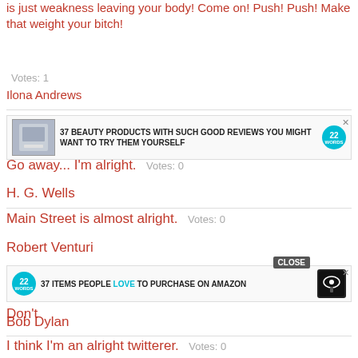is just weakness leaving your body! Come on! Push! Push! Make that weight your bitch!
Votes: 1
Ilona Andrews
[Figure (other): Advertisement: 37 Beauty Products With Such Good Reviews You Might Want To Try Them Yourself (22 Words)]
Go away... I'm alright.   Votes: 0
H. G. Wells
Main Street is almost alright.   Votes: 0
Robert Venturi
[Figure (other): Advertisement: 37 Items People Love To Purchase On Amazon (22 Words) with CLOSE button overlay]
Don't
Bob Dylan
I think I'm an alright twitterer.   Votes: 0